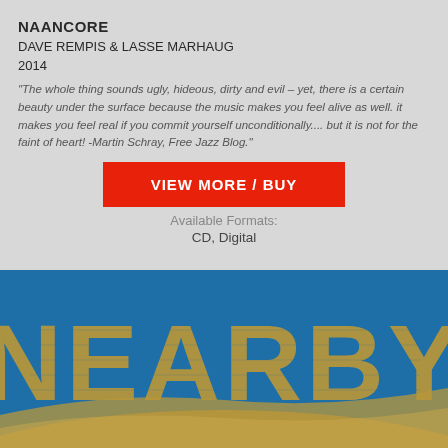NAANCORE
DAVE REMPIS & LASSE MARHAUG
2014
“The whole thing sounds ugly, hideous, dirty and evil – yet, there is a certain beauty under the surface because the music makes you feel alive as well. it makes you feel real if you commit yourself unconditionally.... but it is not for the faint of heart! -Martin Schray, Free Jazz Blog.”
VIEW MORE / BUY
Available Formats:
CD, Digital
[Figure (photo): Album cover showing large text 'NEARBY' in tan/gold letters on a blue background, with curved shapes below]